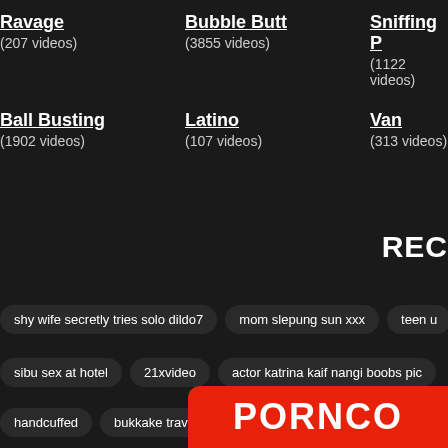Ravage (207 videos)
Bubble Butt (3855 videos)
Sniffing P (1122 videos)
Ball Busting (1902 videos)
Latino (107 videos)
Van (313 videos)
REC
shy wife secretly tries solo dildo7
mom slepung sun xxx
teen u
sibu sex at hotel
21xvideo
actor katrina kaif nangi boobs pic
handcuffed
bukkake travesti
PORNCO